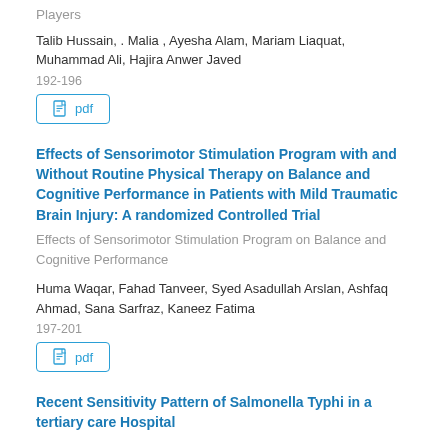Players
Talib Hussain, . Malia , Ayesha Alam, Mariam Liaquat, Muhammad Ali, Hajira Anwer Javed
192-196
pdf
Effects of Sensorimotor Stimulation Program with and Without Routine Physical Therapy on Balance and Cognitive Performance in Patients with Mild Traumatic Brain Injury: A randomized Controlled Trial
Effects of Sensorimotor Stimulation Program on Balance and Cognitive Performance
Huma Waqar, Fahad Tanveer, Syed Asadullah Arslan, Ashfaq Ahmad, Sana Sarfraz, Kaneez Fatima
197-201
pdf
Recent Sensitivity Pattern of Salmonella Typhi in a tertiary care Hospital